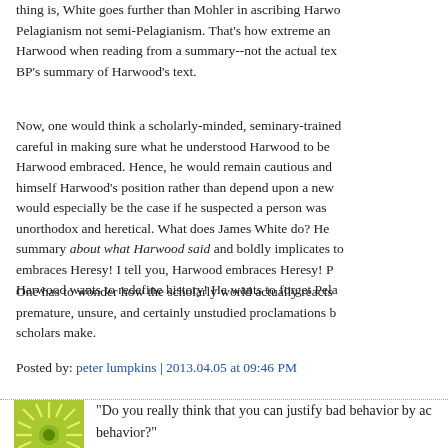thing is, White goes further than Mohler in ascribing Harwood Pelagianism not semi-Pelagianism. That's how extreme and Harwood when reading from a summary--not the actual text BP's summary of Harwood's text.
Now, one would think a scholarly-minded, seminary-trained careful in making sure what he understood Harwood to be Harwood embraced. Hence, he would remain cautious and himself Harwood's position rather than depend upon a new would especially be the case if he suspected a person was unorthodox and heretical. What does James White do? He summary about what Harwood said and boldly implicates to embraces Heresy! I tell you, Harwood embraces Heresy! P Harwood wants to redefine history! He wants to forget Pela
One has to wonder how the scholarly world actually reacts premature, unsure, and certainly unstudied proclamations b scholars make.
Posted by: peter lumpkins | 2013.04.05 at 09:46 PM
"Do you really think that you can justify bad behavior by ac behavior?"